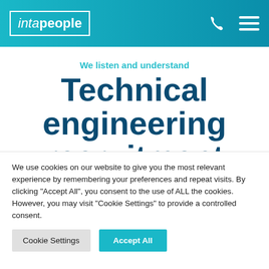inta people
We listen and understand
Technical engineering recruitment
We use cookies on our website to give you the most relevant experience by remembering your preferences and repeat visits. By clicking "Accept All", you consent to the use of ALL the cookies. However, you may visit "Cookie Settings" to provide a controlled consent.
Cookie Settings | Accept All